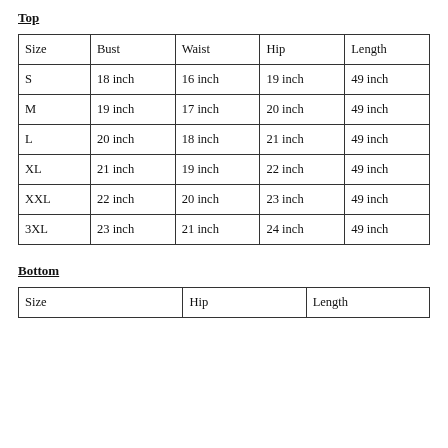Top
| Size | Bust | Waist | Hip | Length |
| --- | --- | --- | --- | --- |
| S | 18 inch | 16 inch | 19 inch | 49 inch |
| M | 19 inch | 17 inch | 20 inch | 49 inch |
| L | 20 inch | 18 inch | 21 inch | 49 inch |
| XL | 21 inch | 19 inch | 22 inch | 49 inch |
| XXL | 22 inch | 20 inch | 23 inch | 49 inch |
| 3XL | 23 inch | 21 inch | 24 inch | 49 inch |
Bottom
| Size | Hip | Length |
| --- | --- | --- |